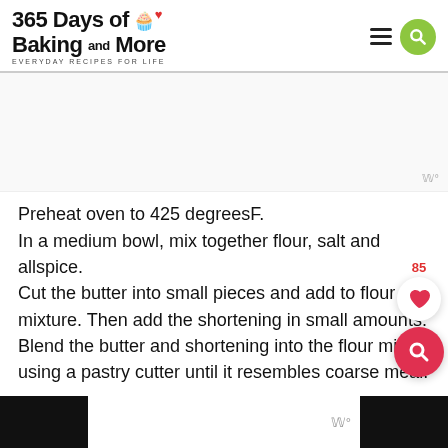365 Days of Baking and More — EVERYDAY RECIPES FOR LIFE
[Figure (other): Advertisement / blank ad placeholder area with watermark logo]
Preheat oven to 425 degreesF.
In a medium bowl, mix together flour, salt and allspice.
Cut the butter into small pieces and add to flour mixture. Then add the shortening in small amounts.
Blend the butter and shortening into the flour mix using a pastry cutter until it resembles coarse meal.
Bottom navigation bar